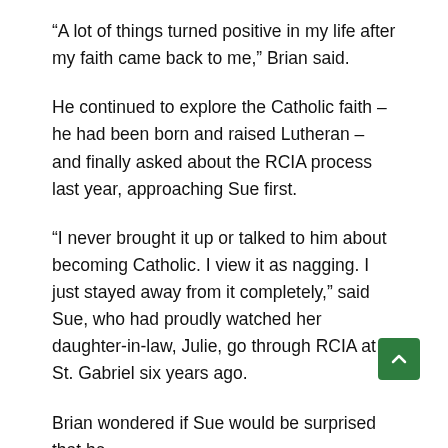“A lot of things turned positive in my life after my faith came back to me,” Brian said.
He continued to explore the Catholic faith – he had been born and raised Lutheran – and finally asked about the RCIA process last year, approaching Sue first.
“I never brought it up or talked to him about becoming Catholic. I view it as nagging. I just stayed away from it completely,” said Sue, who had proudly watched her daughter-in-law, Julie, go through RCIA at St. Gabriel six years ago.
Brian wondered if Sue would be surprised that he